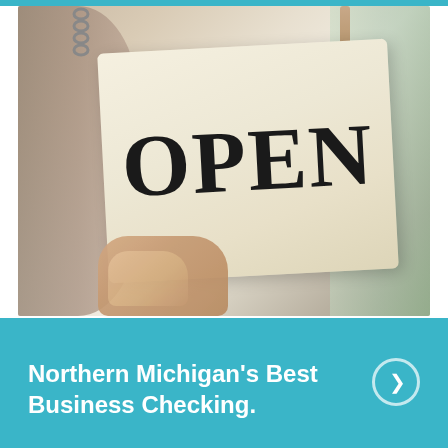[Figure (photo): A person holding up an OPEN sign on a wooden board with chain/cord hanging from top, blurred background with green/warm tones]
Northern Michigan's Best Business Checking.